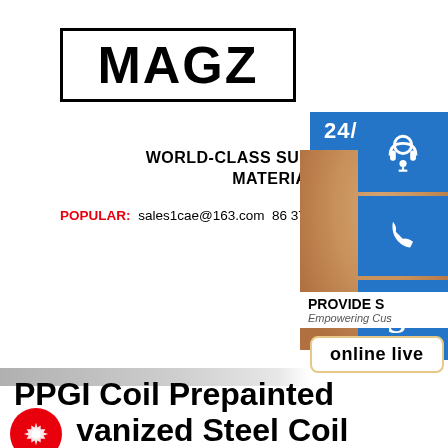[Figure (logo): MAGZ logo in bold black text inside a rectangular border]
WORLD-CLASS SUPPLIER OF S MATERIAL
POPULAR: sales1cae@163.com 86 371 861
[Figure (photo): Customer service representative with headset, 24/7 online live support banner, phone and Skype icons]
PPGI Coil Prepainted Galvanized Steel Coil Manufacturer